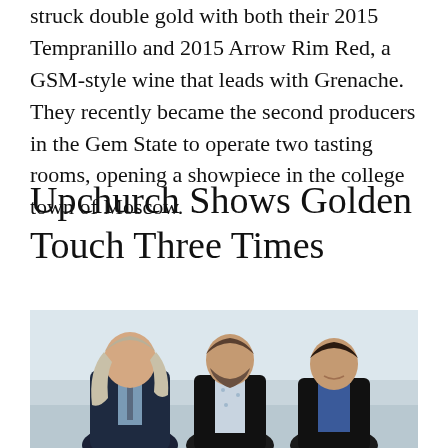struck double gold with both their 2015 Tempranillo and 2015 Arrow Rim Red, a GSM-style wine that leads with Grenache. They recently became the second producers in the Gem State to operate two tasting rooms, opening a showpiece in the college town of Moscow.
Upchurch Shows Golden Touch Three Times
[Figure (photo): Three men standing together smiling, outdoors with a harbor/waterfront in the background. Left man has long gray hair and wears a dark suit with tie. Center man has a beard and wears a dark blazer over a floral shirt. Right man has short dark hair and wears a dark blazer over a blue shirt.]